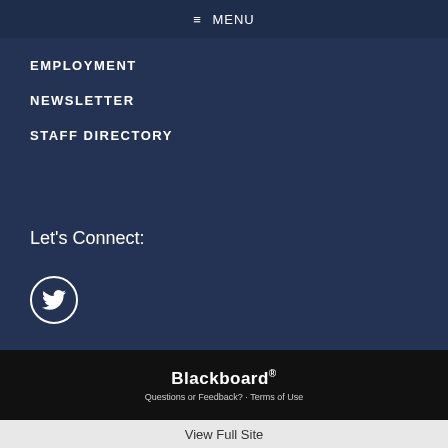≡ MENU
EMPLOYMENT
NEWSLETTER
STAFF DIRECTORY
Let's Connect:
[Figure (illustration): Twitter bird icon inside a circular white border]
Blackboard® Questions or Feedback? · Terms of Use
View Full Site